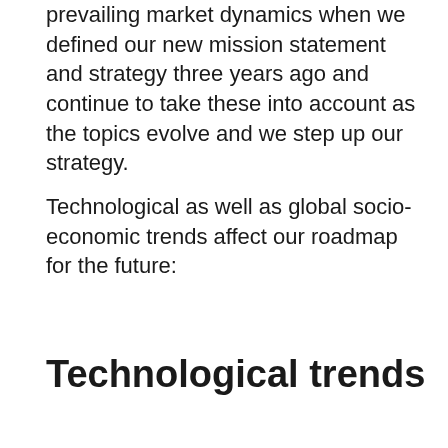prevailing market dynamics when we defined our new mission statement and strategy three years ago and continue to take these into account as the topics evolve and we step up our strategy.
Technological as well as global socio-economic trends affect our roadmap for the future:
Technological trends